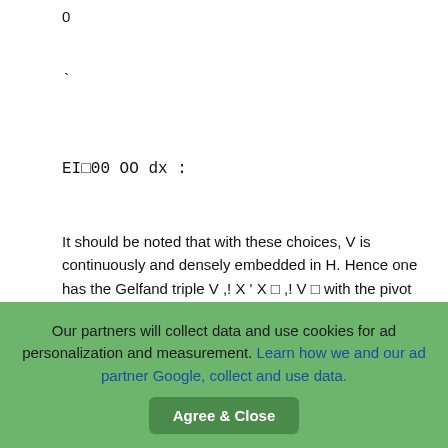0
It should be noted that with these choices, V is continuously and densely embedded in H. Hence one has the Gelfand triple V ,! X ' X □ ,! V □ with the pivot space X.
Note that u(t) = I (t) denotes the control input to the system. The system (7) provides the constraints employed in the control problem.
A weak form of the model is then given by Z
Our partners will collect data and use cookies for ad personalization and measurement. Learn how we and our ad partner Google, collect and use data. Agree & Close